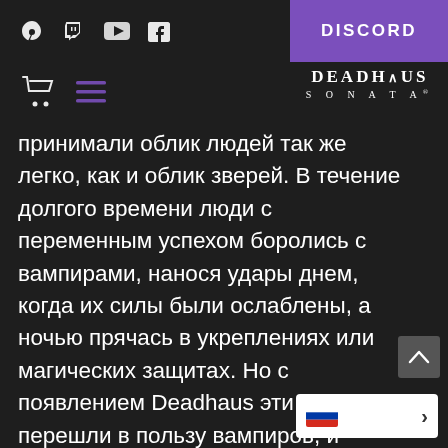DISCORD
[Figure (logo): DEADHAUS SONATA logo text]
принимали облик людей так же легко, как и облик зверей. В течение долгого времени люди с переменным успехом боролись с вампирами, нанося удары днем, когда их силы были ослаблены, а ночью прячась в укреплениях или магических защитах. Но с появлением Deadhaus эти сражения перешли в пользу вампиров, и война превратилась в бойню.